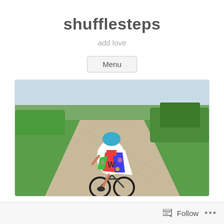shufflesteps
add love
Menu
[Figure (photo): A child wearing a colorful cape and blue helmet riding a balance bike on a gravel path, viewed from behind, with green grass and trees on both sides.]
Follow ...